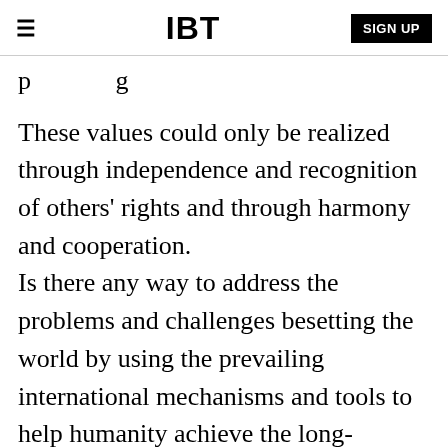IBT  SIGN UP
p…g
These values could only be realized through independence and recognition of others' rights and through harmony and cooperation. Is there any way to address the problems and challenges besetting the world by using the prevailing international mechanisms and tools to help humanity achieve the long-standing aspiration of peace, security and equality?
All those who tried to introduce reforms whilst preserving the existing norms and tendencies have